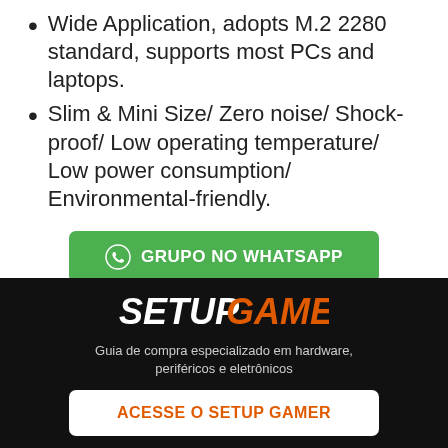Wide Application, adopts M.2 2280 standard, supports most PCs and laptops.
Slim & Mini Size/ Zero noise/ Shock-proof/ Low operating temperature/ Low power consumption/ Environmental-friendly.
[Figure (other): Green button: GRUPO NO WHATSAPP]
[Figure (other): Blue button: CANAL NO TELEGRAM]
[Figure (logo): Setup Gamer logo on black banner with text: Guia de compra especializado em hardware, periféricos e eletrônicos, and button ACESSE O SETUP GAMER]